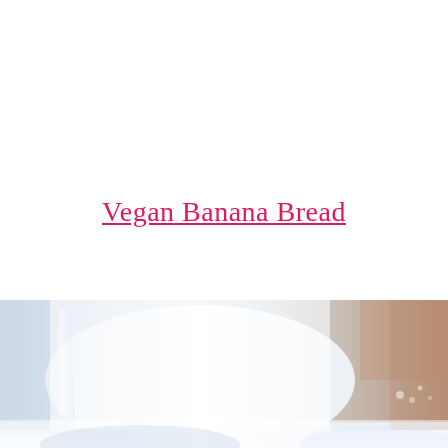Vegan Banana Bread
[Figure (photo): A photo of glass containers with milk — a large glass pitcher pouring milk into a glass jar, with a blurred warm-toned background. The image is bright and airy with predominantly white and light blue tones.]